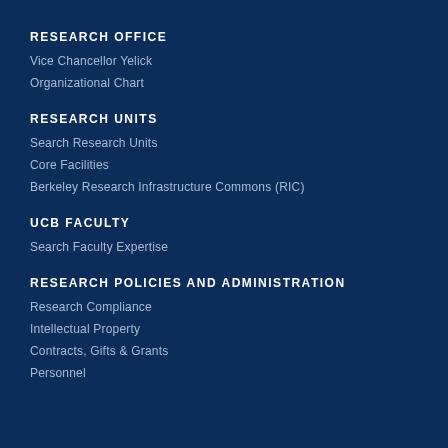RESEARCH OFFICE
Vice Chancellor Yelick
Organizational Chart
RESEARCH UNITS
Search Research Units
Core Facilities
Berkeley Research Infrastructure Commons (RIC)
UCB FACULTY
Search Faculty Expertise
RESEARCH POLICIES AND ADMINISTRATION
Research Compliance
Intellectual Property
Contracts, Gifts & Grants
Personnel